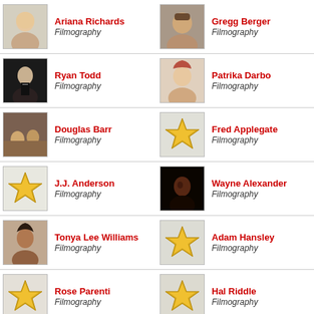Ariana Richards — Filmography
Gregg Berger — Filmography
Ryan Todd — Filmography
Patrika Darbo — Filmography
Douglas Barr — Filmography
Fred Applegate — Filmography
J.J. Anderson — Filmography
Wayne Alexander — Filmography
Tonya Lee Williams — Filmography
Adam Hansley — Filmography
Rose Parenti — Filmography
Hal Riddle — Filmography